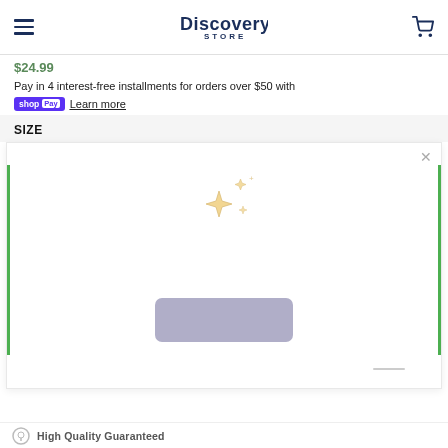Discovery Store
$24.99
Pay in 4 interest-free installments for orders over $50 with shop Pay Learn more
SIZE
[Figure (screenshot): Modal overlay with sparkles/stars icon, a mauve/purple rounded rectangle button placeholder, and a close X button in the top right. Green bars on left and right sides.]
High Quality Guaranteed